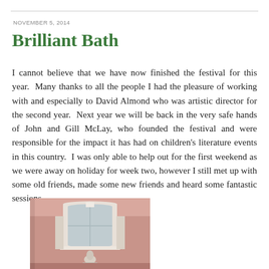NOVEMBER 5, 2014
Brilliant Bath
I cannot believe that we have now finished the festival for this year.  Many thanks to all the people I had the pleasure of working with and especially to David Almond who was artistic director for the second year.  Next year we will be back in the very safe hands of John and Gill McLay, who founded the festival and were responsible for the impact it has had on children's literature events in this country.  I was only able to help out for the first weekend as we were away on holiday for week two, however I still met up with some old friends, made some new friends and heard some fantastic sessions.
[Figure (photo): Interior photo showing a pink-walled room with an arched white window and decorative architectural details]